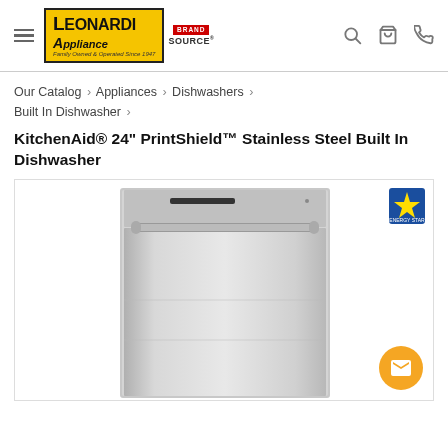Leonardi Appliance | Brand Source — navigation header with hamburger menu, logo, search, cart, phone icons
Our Catalog › Appliances › Dishwashers › Built In Dishwasher ›
KitchenAid® 24" PrintShield™ Stainless Steel Built In Dishwasher
[Figure (photo): KitchenAid stainless steel built-in dishwasher with bar handle, control panel on top, Energy Star badge in top right corner]